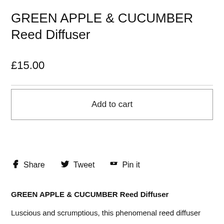GREEN APPLE & CUCUMBER Reed Diffuser
£15.00
Add to cart
Share  Tweet  Pin it
GREEN APPLE & CUCUMBER Reed Diffuser
Luscious and scrumptious, this phenomenal reed diffuser